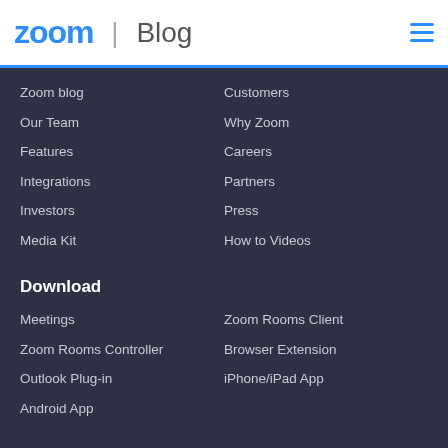zoom | Blog
Zoom blog
Our Team
Features
Integrations
Investors
Media Kit
Customers
Why Zoom
Careers
Partners
Press
How to Videos
Download
Meetings
Zoom Rooms Controller
Outlook Plug-in
Android App
Zoom Rooms Client
Browser Extension
iPhone/iPad App
Sales
1 888 799 9666